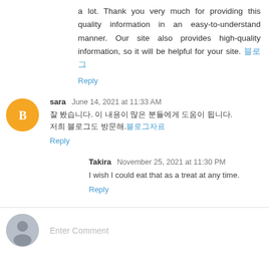a lot. Thank you very much for providing this quality information in an easy-to-understand manner. Our site also provides high-quality information, so it will be helpful for your site. 블로그
Reply
sara June 14, 2021 at 11:33 AM
잘 봤습니다. 이 내용이 많은 분들에게 도움이 됩니다.
저희 블로그도 방문해.블로그자료
Reply
Takira November 25, 2021 at 11:30 PM
I wish I could eat that as a treat at any time.
Reply
Enter Comment